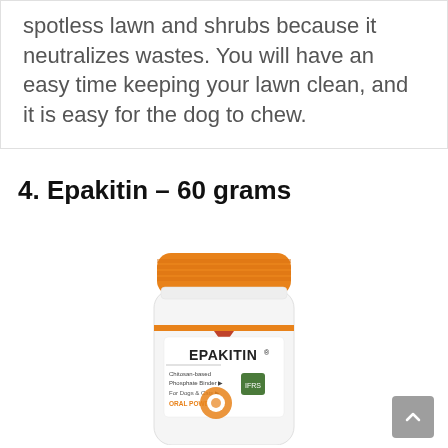spotless lawn and shrubs because it neutralizes wastes. You will have an easy time keeping your lawn clean, and it is easy for the dog to chew.
4. Epakitin – 60 grams
[Figure (photo): Product photo of Epakitin 60g bottle with orange cap and label reading EPAKITIN Chitosan-based Phosphate Binder For Dogs & Cats ORAL POWDER]